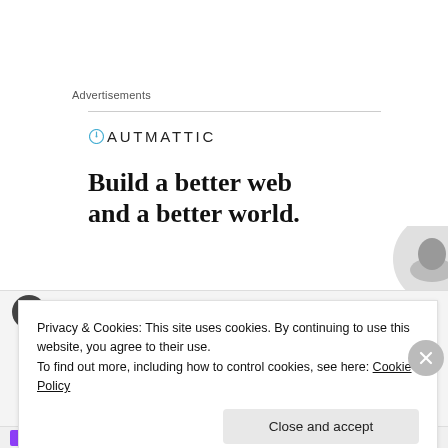Advertisements
[Figure (logo): Automattic logo with compass icon]
[Figure (illustration): Advertisement banner reading 'Build a better web and a better world.' with partial circular photo on right side]
Privacy & Cookies: This site uses cookies. By continuing to use this website, you agree to their use.
To find out more, including how to control cookies, see here: Cookie Policy
Close and accept